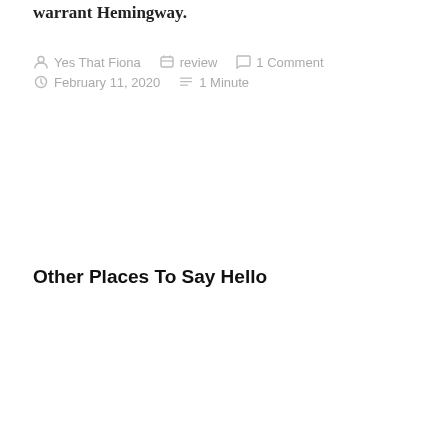warrant Hemingway.
Yes That Fiona   review   1 Comment   February 11, 2020   1 Minute
Other Places To Say Hello